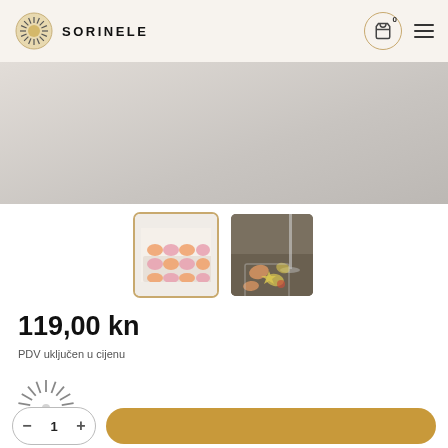SORINELE
[Figure (screenshot): Product page showing a tray of decorative cookies/candles on white background (main product image, partially visible, gray background)]
[Figure (photo): Thumbnail 1 (active/selected): small product photo showing orange/pink cookie-like items arranged in a grid on a white tray]
[Figure (photo): Thumbnail 2: photo showing same product items scattered on a dark surface with a glass stem visible]
119,00 kn
PDV uključen u cijenu
[Figure (other): Loading spinner / Sorinele sunburst icon (animated spinner indicator)]